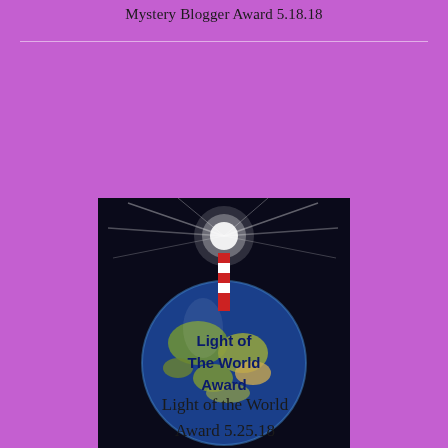Mystery Blogger Award 5.18.18
[Figure (illustration): Globe with lighthouse on top, glowing light rays, with text 'Light of The World Award' overlaid on the globe]
Light of the World Award 5.25.18